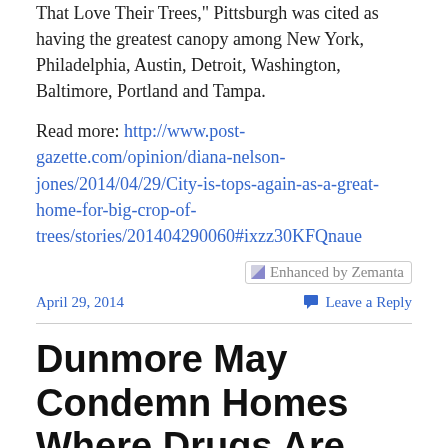That Love Their Trees," Pittsburgh was cited as having the greatest canopy among New York, Philadelphia, Austin, Detroit, Washington, Baltimore, Portland and Tampa.
Read more: http://www.post-gazette.com/opinion/diana-nelson-jones/2014/04/29/City-is-tops-again-as-a-great-home-for-big-crop-of-trees/stories/201404290060#ixzz30KFQnaue
[Figure (other): Enhanced by Zemanta badge/button]
April 29, 2014
Leave a Reply
Dunmore May Condemn Homes Where Drugs Are Sold
[Figure (illustration): Partial thumbnail image at bottom left]